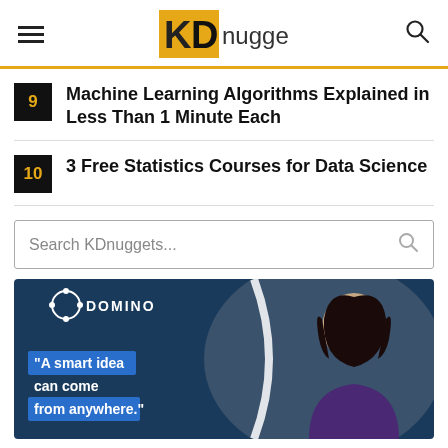KDnuggets
9 Machine Learning Algorithms Explained in Less Than 1 Minute Each
10 3 Free Statistics Courses for Data Science
Search KDnuggets...
[Figure (photo): Domino advertisement with a woman and quote: A smart idea can come from anywhere.]